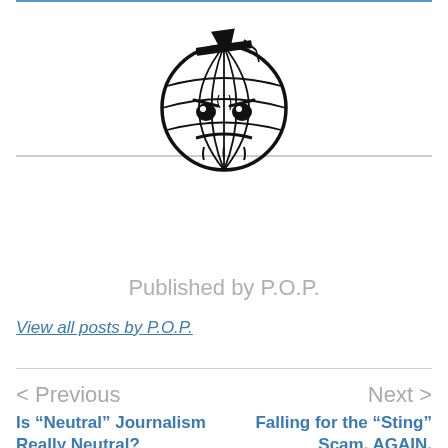[Figure (logo): Angry globe illustration with graduation cap, showing a stylized world globe with an angry face and a mortarboard cap on top, rendered in black ink]
Published by P.O.P.
View all posts by P.O.P.
< Previous
Is “Neutral” Journalism Really Neutral?
Next >
Falling for the “Sting” Scam. AGAIN.